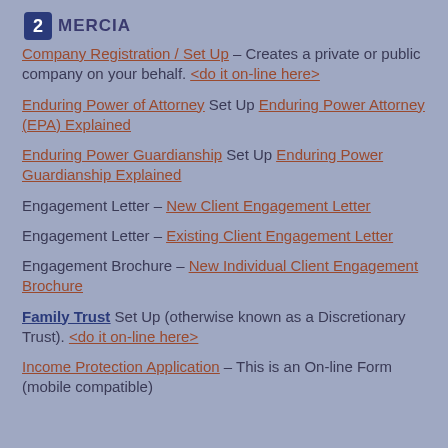MERCIA
Company Registration / Set Up – Creates a private or public company on your behalf. <do it on-line here>
Enduring Power of Attorney Set Up Enduring Power Attorney (EPA) Explained
Enduring Power Guardianship Set Up Enduring Power Guardianship Explained
Engagement Letter – New Client Engagement Letter
Engagement Letter – Existing Client Engagement Letter
Engagement Brochure – New Individual Client Engagement Brochure
Family Trust Set Up (otherwise known as a Discretionary Trust). <do it on-line here>
Income Protection Application – This is an On-line Form (mobile compatible)